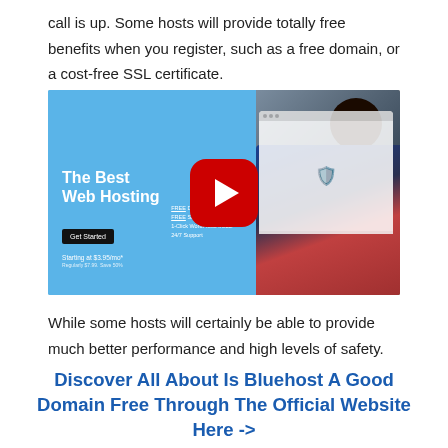call is up. Some hosts will provide totally free benefits when you register, such as a free domain, or a cost-free SSL certificate.
[Figure (screenshot): YouTube video thumbnail for a web hosting advertisement showing 'The Best Web Hosting' text on a blue background with a YouTube play button overlay and a person with an afro hairstyle on the right side. Features a 'Get Started' button and pricing starting at $3.95/mo.]
While some hosts will certainly be able to provide much better performance and high levels of safety.
Discover All About Is Bluehost A Good Domain Free Through The Official Website Here ->